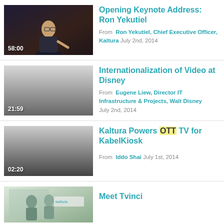[Figure (screenshot): Video thumbnail: speaker on stage, 58:00 duration]
Opening Keynote Address: Ron Yekutiel
From Ron Yekutiel, Chief Executive Officer, Kaltura July 2nd, 2014
[Figure (screenshot): Video thumbnail: gray gradient placeholder, 21:59 duration]
Internationalization of Video at Disney
From Eugene Liew, Director IT Infrastructure & Projects, Walt Disney July 2nd, 2014
[Figure (screenshot): Video thumbnail: gray gradient placeholder, 02:20 duration]
Kaltura Powers OTT TV for KabelKiosk
From Iddo Shai July 1st, 2014
[Figure (screenshot): Video thumbnail: office setting photo]
Meet Tvinci